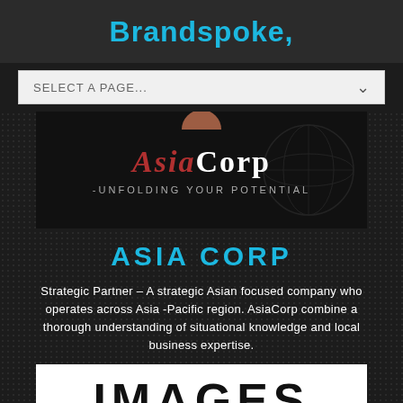Brandspoke,
SELECT A PAGE...
[Figure (logo): AsiaCorp logo on dark background with globe graphic and tagline '-UNFOLDING YOUR POTENTIAL']
ASIA CORP
Strategic Partner – A strategic Asian focused company who operates across Asia -Pacific region. AsiaCorp combine a thorough understanding of situational knowledge and local business expertise.
[Figure (logo): IMAGES logo/text in large bold black letters on white background]